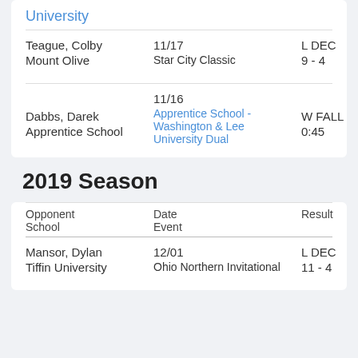University
| Opponent
School | Date
Event | Result | Video
TDL |
| --- | --- | --- | --- |
| Teague, Colby
Mount Olive | 11/17
Star City Classic | L DEC
9 - 4 | + |
| Dabbs, Darek
Apprentice School | 11/16
Apprentice School - Washington & Lee University Dual | W FALL
0:45 | + |
2019 Season
| Opponent
School | Date
Event | Result | Video
TDL |
| --- | --- | --- | --- |
| Mansor, Dylan
Tiffin University | 12/01
Ohio Northern Invitational | L DEC
11 - 4 | + |